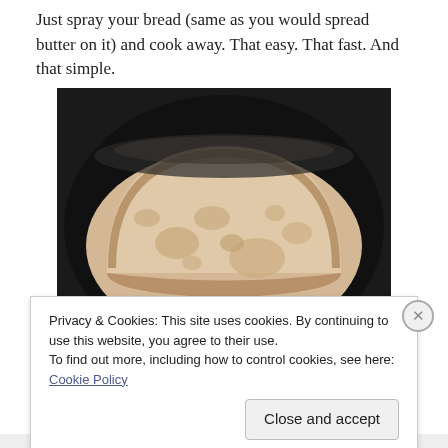Just spray your bread (same as you would spread butter on it) and cook away. That easy. That fast. And that simple.
[Figure (photo): A slice of white bread cooking in a dark frying pan, viewed from above. The bread slice has a pale interior with air pockets, and the pan shows some cooking spray/oil around it.]
Privacy & Cookies: This site uses cookies. By continuing to use this website, you agree to their use.
To find out more, including how to control cookies, see here: Cookie Policy
Close and accept